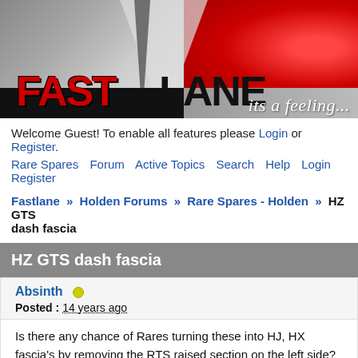[Figure (logo): Fastlane website banner with red and grey background, showing FAST in red bold letters and LANE in black, with tagline 'its a feeling...' in italic white script]
Welcome Guest! To enable all features please Login or Register.
Rare Spares  Forum  Active Topics  Search  Help  Login  Register
Fastlane » Holden Forums » Rare Spares - Holden » HZ GTS dash fascia
HZ GTS dash fascia
Absinth
Posted : 14 years ago
Is there any chance of Rares turning these into HJ, HX fascia's by removing the RTS raised section on the left side? That is the only thing stopping me from buying a repro fascia for my HX Sandman.